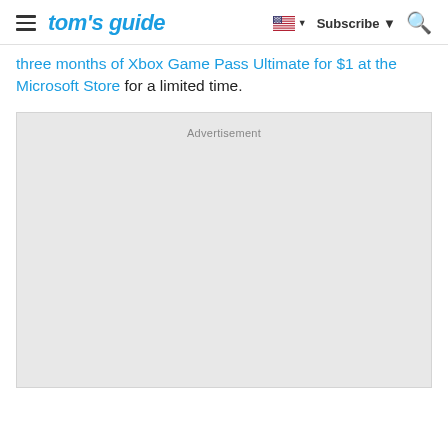tom's guide — Subscribe — Search
three months of Xbox Game Pass Ultimate for $1 at the Microsoft Store for a limited time.
[Figure (other): Advertisement placeholder box (grey background, label 'Advertisement' at top center)]